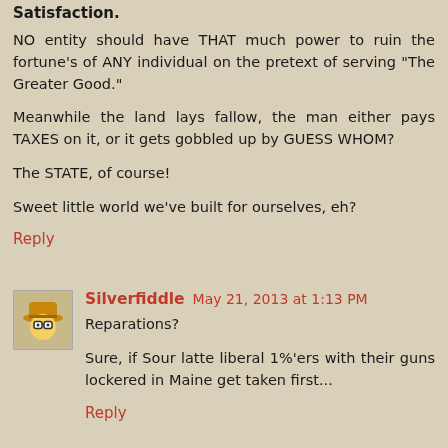Satisfaction.
NO entity should have THAT much power to ruin the fortune's of ANY individual on the pretext of serving "The Greater Good."
Meanwhile the land lays fallow, the man either pays TAXES on it, or it gets gobbled up by GUESS WHOM?
The STATE, of course!
Sweet little world we've built for ourselves, eh?
Reply
Silverfiddle May 21, 2013 at 1:13 PM
Reparations?
Sure, if Sour latte liberal 1%'ers with their guns lockered in Maine get taken first...
Reply